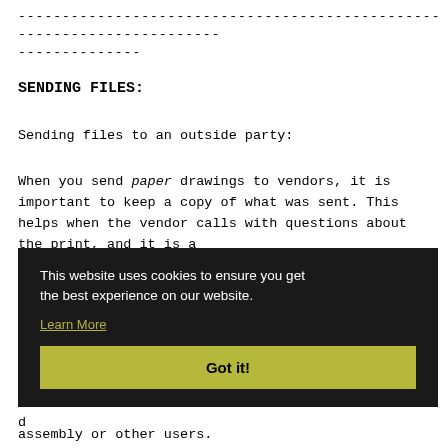-----------------------------------------------------------------------
--------------
SENDING FILES:
Sending files to an outside party:
When you send paper drawings to vendors, it is important to keep a copy of what was sent. This helps when the vendor calls with questions about the print, and it is a u[...] we s[...] a[...] or t[...] in[...] a d[...] assembly or other users.
[Figure (screenshot): Cookie consent overlay with black background. Text reads: 'This website uses cookies to ensure you get the best experience on our website.' with a 'Learn More' link and a yellow-green 'Got it!' button.]